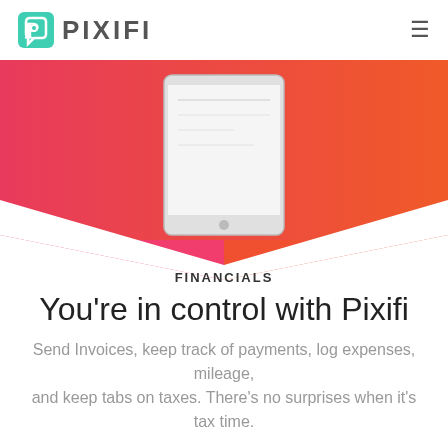PIXIFI
[Figure (illustration): Hero image showing a tablet/device on a pink-to-orange gradient background with white geometric chevron shape at the bottom]
FINANCIALS
You're in control with Pixifi
Send Invoices, keep track of payments, log expenses, mileage, and keep tabs on taxes. There's no surprises when it's tax time.